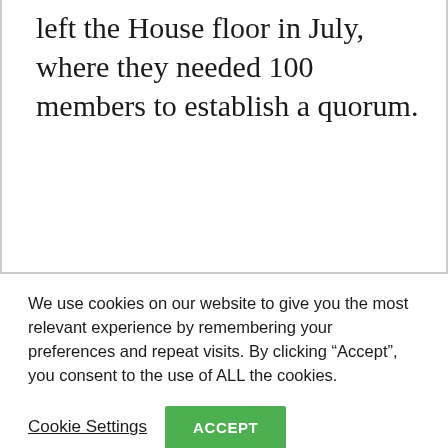left the House floor in July, where they needed 100 members to establish a quorum.
We use cookies on our website to give you the most relevant experience by remembering your preferences and repeat visits. By clicking “Accept”, you consent to the use of ALL the cookies.
Cookie Settings
ACCEPT